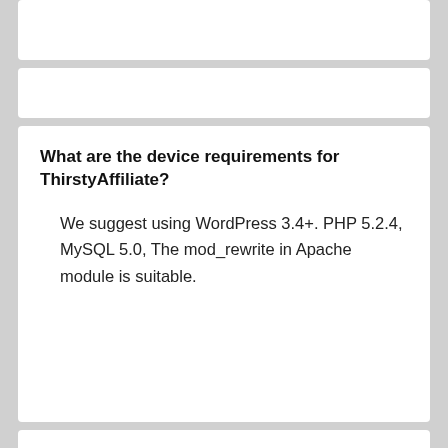What are the device requirements for ThirstyAffiliate?
We suggest using WordPress 3.4+. PHP 5.2.4, MySQL 5.0, The mod_rewrite in Apache module is suitable.
Is it possible for me to use ThirstyAffiliates to manage an affiliate program on my website?